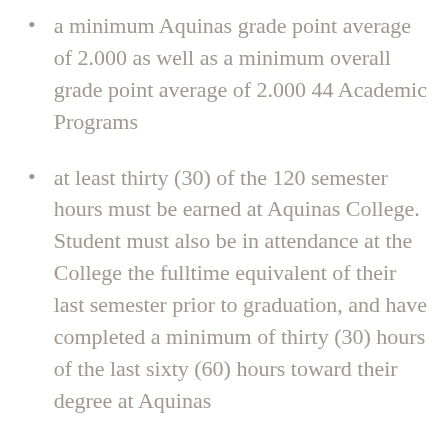a minimum Aquinas grade point average of 2.000 as well as a minimum overall grade point average of 2.000 44 Academic Programs
at least thirty (30) of the 120 semester hours must be earned at Aquinas College. Student must also be in attendance at the College the fulltime equivalent of their last semester prior to graduation, and have completed a minimum of thirty (30) hours of the last sixty (60) hours toward their degree at Aquinas